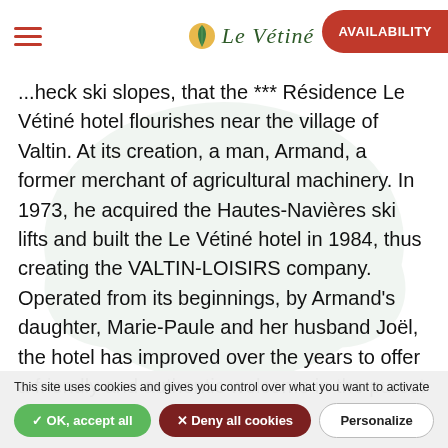Le Vétiné — AVAILABILITY
...heck ski slopes, that the *** Résidence Le Vétiné hotel flourishes near the village of Valtin. At its creation, a man, Armand, a former merchant of agricultural machinery. In 1973, he acquired the Hautes-Navières ski lifts and built the Le Vétiné hotel in 1984, thus creating the VALTIN-LOISIRS company. Operated from its beginnings, by Armand's daughter, Marie-Paule and her husband Joël, the hotel has improved over the years to offer a friendly and authentic welcome in the purest Vosges style.
Today, it is Sébastien (son of Joël and Marie-Paule) and his wife, Alexandra with their 3 children who continue the family tradition with the same passion for hospitality.
This site uses cookies and gives you control over what you want to activate
✓ OK, accept all   ✕ Deny all cookies   Personalize